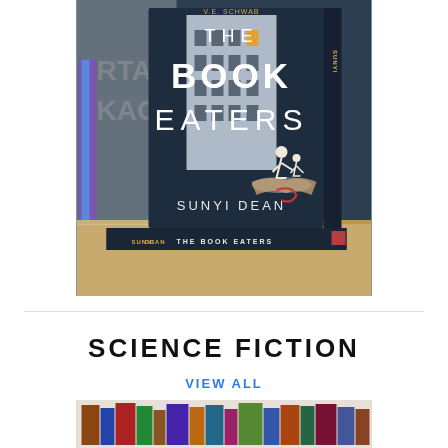[Figure (photo): A photograph of 'The Book Eaters' book by Sunyi Dean displayed upright showing its front cover with a dark blue/teal background, an illustrated building, and silhouettes of two figures. The spine and a copy lying flat underneath are also visible. The book is placed on a cork/wood surface with other books visible in the background.]
SCIENCE FICTION
VIEW ALL
[Figure (photo): Bottom portion of a photograph showing a bookshelf with various books.]